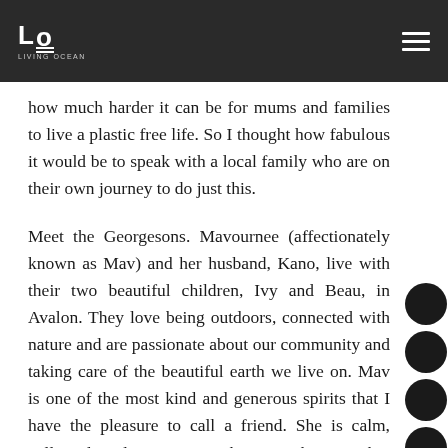LO LIVING OCEAN
how much harder it can be for mums and families to live a plastic free life. So I thought how fabulous it would be to speak with a local family who are on their own journey to do just this.
Meet the Georgesons. Mavournee (affectionately known as Mav) and her husband, Kano, live with their two beautiful children, Ivy and Beau, in Avalon. They love being outdoors, connected with nature and are passionate about our community and taking care of the beautiful earth we live on. Mav is one of the most kind and generous spirits that I have the pleasure to call a friend. She is calm, collected and seems to take everything in her stride. Despite her busy schedule and having already given me an afternoon of her time, when disaster hit and my toddler took it on himself to